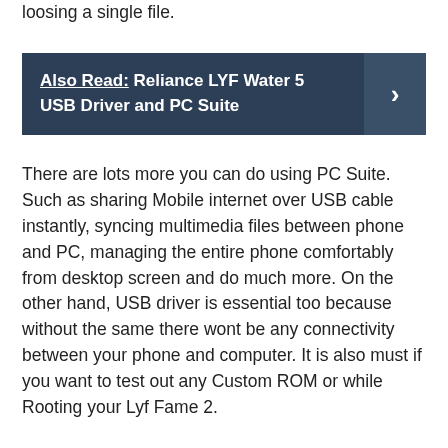loosing a single file.
Also Read:  Reliance LYF Water 5 USB Driver and PC Suite
There are lots more you can do using PC Suite. Such as sharing Mobile internet over USB cable instantly, syncing multimedia files between phone and PC, managing the entire phone comfortably from desktop screen and do much more. On the other hand, USB driver is essential too because without the same there wont be any connectivity between your phone and computer. It is also must if you want to test out any Custom ROM or while Rooting your Lyf Fame 2.